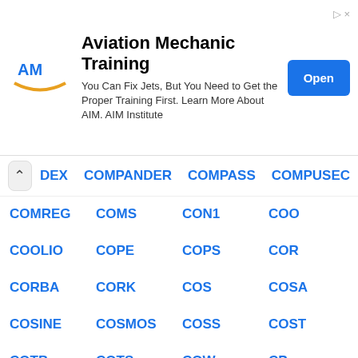[Figure (other): Advertisement banner for Aviation Mechanic Training by AIM Institute with logo, text, and Open button]
DEX  COMPANDER  COMPASS  COMPUSEC
COMREG  COMS  CON1  COO
COOLIO  COPE  COPS  COR
CORBA  CORK  COS  COSA
COSINE  COSMOS  COSS  COST
COTB  COTS  COW  CP
CPA  CPC  CPCA  CPCI
CPE  CPF  CPI  CPIC
CPL  CPM  CPN  CPOL
CPOP  CPP  CPPL  CPR
CP-SVR  CPT  CPU  CPW
CPZ  CQ  CQL  CR
CR5  CRA  CRACK  CRAFT